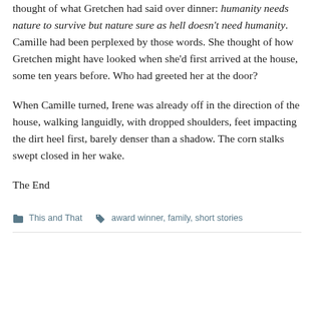thought of what Gretchen had said over dinner: humanity needs nature to survive but nature sure as hell doesn't need humanity. Camille had been perplexed by those words. She thought of how Gretchen might have looked when she'd first arrived at the house, some ten years before. Who had greeted her at the door?
When Camille turned, Irene was already off in the direction of the house, walking languidly, with dropped shoulders, feet impacting the dirt heel first, barely denser than a shadow. The corn stalks swept closed in her wake.
The End
This and That   award winner, family, short stories